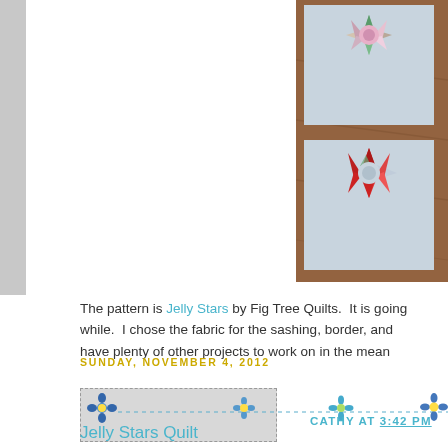[Figure (photo): Photo of quilt blocks featuring star patterns in red, green, and pink fabrics on a light blue/grey background, placed on a wooden floor surface. Top right portion of the page.]
The pattern is Jelly Stars by Fig Tree Quilts.  It is going to take a while.  I chose the fabric for the sashing, border, and have plenty of other projects to work on in the mean
[Figure (other): Decorative blog divider with dashed line and small flower/snowflake icons in blue and teal, with a thumbnail image on the left side]
CATHY AT 3:42 PM
SUNDAY, NOVEMBER 4, 2012
Jelly Stars Quilt